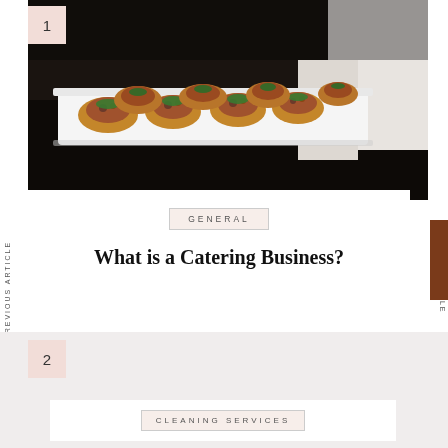[Figure (photo): A waiter in white uniform holding a rectangular white tray with bruschetta appetizers topped with mushrooms and fresh herbs/parsley, on a dark background.]
1
GENERAL
What is a Catering Business?
2
CLEANING SERVICES
PREVIOUS ARTICLE
NEXT ARTICLE